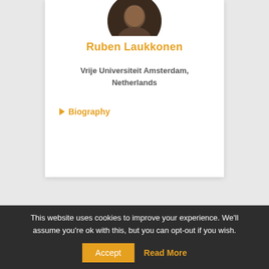[Figure (photo): Circular profile photo of Ruben Laukkonen, partially cropped at top]
Ruben Laukkonen
Vrije Universiteit Amsterdam, Netherlands
▶ Biography
This website uses cookies to improve your experience. We'll assume you're ok with this, but you can opt-out if you wish.
Accept  Read More